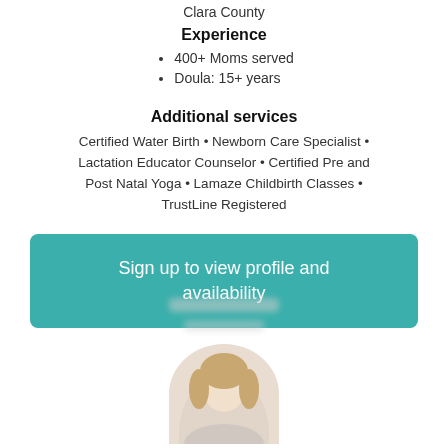Clara County
Experience
400+ Moms served
Doula: 15+ years
Additional services
Certified Water Birth • Newborn Care Specialist • Lactation Educator Counselor • Certified Pre and Post Natal Yoga • Lamaze Childbirth Classes • TrustLine Registered
Sign up to view profile and availability
[Figure (photo): Blurred/redacted name text lines above a circular profile photo of a person with blonde hair]